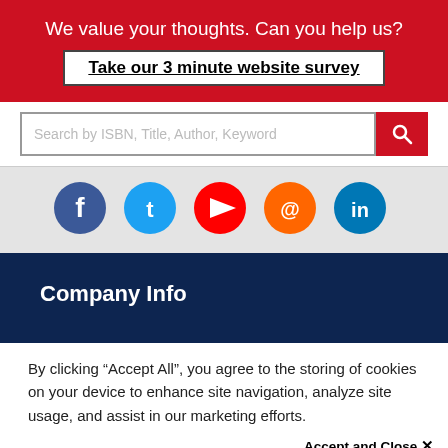We value your thoughts. Can you help us?
Take our 3 minute website survey
Search by ISBN, Title, Author, Keyword
[Figure (illustration): Social media icons: Facebook, Twitter, YouTube, Reddit/email, LinkedIn]
Company Info
By clicking “Accept All”, you agree to the storing of cookies on your device to enhance site navigation, analyze site usage, and assist in our marketing efforts.
Accept and Close ×
Your browser settings do not allow cross-site tracking for advertising. Click on this page to allow AdRoll to use cross-site tracking to tailor ads to you. Learn more or opt out of this AdRoll tracking by clicking here. This message only appears once.